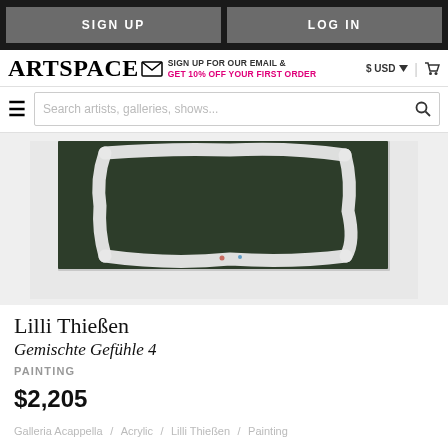SIGN UP | LOG IN
ARTSPACE — SIGN UP FOR OUR EMAIL & GET 10% OFF YOUR FIRST ORDER — $ USD | cart
Search artists, galleries, shows...
[Figure (photo): Painting on dark green canvas with a thick white irregular rectangular frame on the surface, displayed against a light gray wall]
Lilli Thießen
Gemischte Gefühle 4
PAINTING
$2,205
Galleria Acappella / Acrylic / Lilli Thießen / Painting